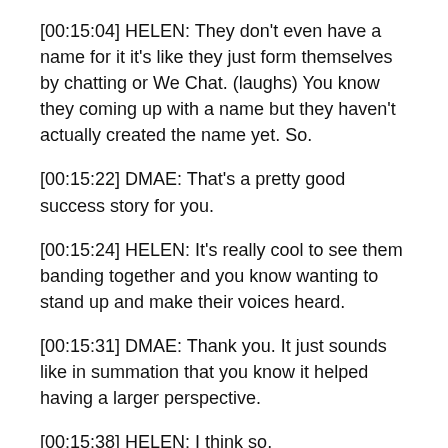[00:15:04] HELEN: They don't even have a name for it it's like they just form themselves by chatting or We Chat. (laughs) You know they coming up with a name but they haven't actually created the name yet. So.
[00:15:22] DMAE: That's a pretty good success story for you.
[00:15:24] HELEN: It's really cool to see them banding together and you know wanting to stand up and make their voices heard.
[00:15:31] DMAE: Thank you. It just sounds like in summation that you know it helped having a larger perspective.
[00:15:38] HELEN: I think so.
[00:15:40] DMAE: And I think that's what you were